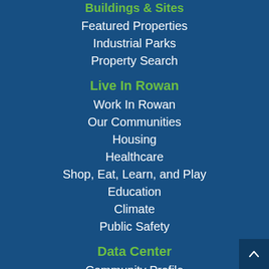Buildings & Sites
Featured Properties
Industrial Parks
Property Search
Live In Rowan
Work In Rowan
Our Communities
Housing
Healthcare
Shop, Eat, Learn, and Play
Education
Climate
Public Safety
Data Center
Community Profile
Economic & Demographic Data
US Cluster Mapping Performance
Maps